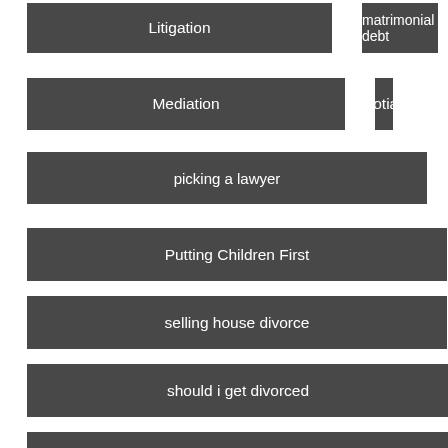Litigation
matrimonial debt
Mediation
Negotiation
picking a lawyer
power of attorney
Putting Children First
selling house divorce
should i get divorced
who pays matriominal debt
Recent Post
Require Legal Aid?
nsions and Divorce